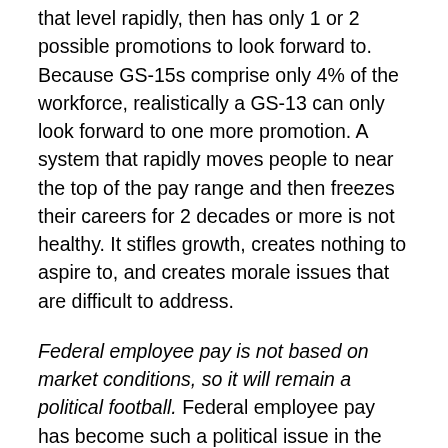that level rapidly, then has only 1 or 2 possible promotions to look forward to. Because GS-15s comprise only 4% of the workforce, realistically a GS-13 can only look forward to one more promotion. A system that rapidly moves people to near the top of the pay range and then freezes their careers for 2 decades or more is not healthy. It stifles growth, creates nothing to aspire to, and creates morale issues that are difficult to address.
Federal employee pay is not based on market conditions, so it will remain a political football. Federal employee pay has become such a political issue in the last 25 years or so that having an adult discussion about it seems to be impossible. Regardless of their beliefs about the proper size of government, most reasonable people agree that Federal employees should receive fair compensation for